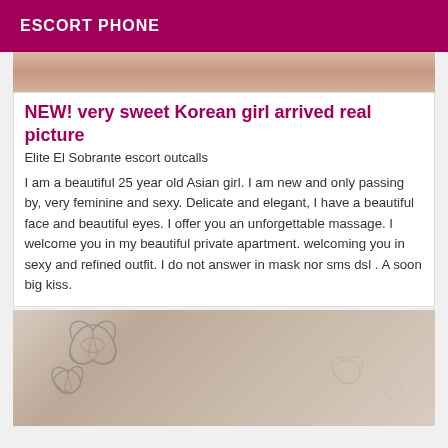ESCORT PHONE
[Figure (photo): Top cropped photo showing skin/body]
NEW! very sweet Korean girl arrived real picture
Elite El Sobrante escort outcalls
I am a beautiful 25 year old Asian girl. I am new and only passing by, very feminine and sexy. Delicate and elegant, I have a beautiful face and beautiful eyes. I offer you an unforgettable massage. I welcome you in my beautiful private apartment. welcoming you in sexy and refined outfit. I do not answer in mask nor sms dsl . A soon big kiss.
[Figure (photo): Bottom photo showing skin with tattoo designs]